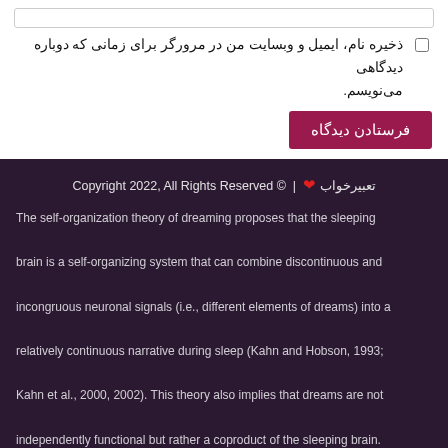ذخیره نام، ایمیل و وبسایت من در مرورگر برای زمانی که دوباره دیدگاهی می‌نویسم.
فرستادن دیدگاه
Copyright 2022, All Rights Reserved © | ❤ تعبیرخواب
The self-organization theory of dreaming proposes that the sleeping brain is a self-organizing system that can combine discontinuous and incongruous neuronal signals (i.e., different elements of dreams) into a relatively continuous narrative during sleep (Kahn and Hobson, 1993; Kahn et al., 2000, 2002). This theory also implies that dreams are not independently functional but rather a coproduct of the sleeping brain.